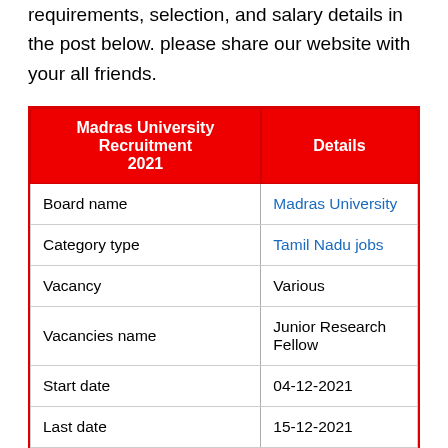requirements, selection, and salary details in the post below. please share our website with your all friends.
| Madras University Recruitment 2021 | Details |
| --- | --- |
| Board name | Madras University |
| Category type | Tamil Nadu jobs |
| Vacancy | Various |
| Vacancies name | Junior Research Fellow |
| Start date | 04-12-2021 |
| Last date | 15-12-2021 |